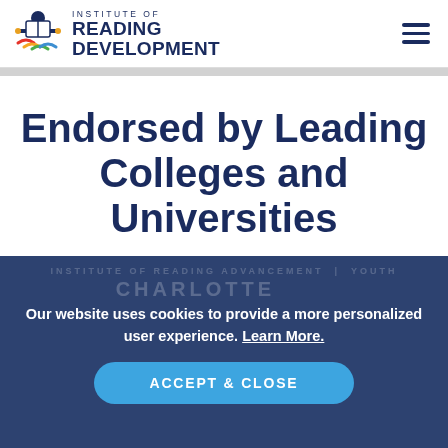Institute of Reading Development
Endorsed by Leading Colleges and Universities
Our website uses cookies to provide a more personalized user experience. Learn More.
ACCEPT & CLOSE